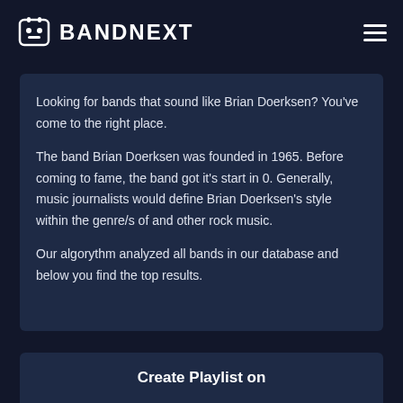BANDNEXT
Looking for bands that sound like Brian Doerksen? You've come to the right place.
The band Brian Doerksen was founded in 1965. Before coming to fame, the band got it's start in 0. Generally, music journalists would define Brian Doerksen's style within the genre/s of and other rock music.
Our algorythm analyzed all bands in our database and below you find the top results.
Create Playlist on